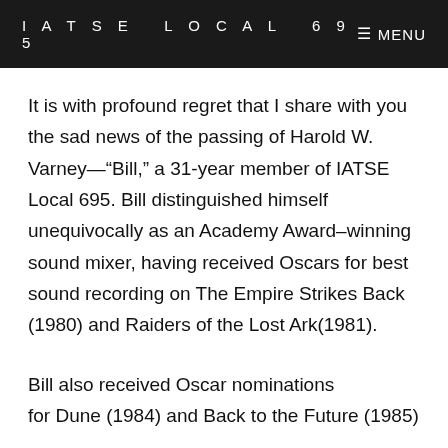IATSE LOCAL 695   MENU
It is with profound regret that I share with you the sad news of the passing of Harold W. Varney—“Bill,” a 31-year member of IATSE Local 695. Bill distinguished himself unequivocally as an Academy Award–winning sound mixer, having received Oscars for best sound recording on The Empire Strikes Back (1980) and Raiders of the Lost Ark(1981).
Bill also received Oscar nominations for Dune (1984) and Back to the Future (1985)